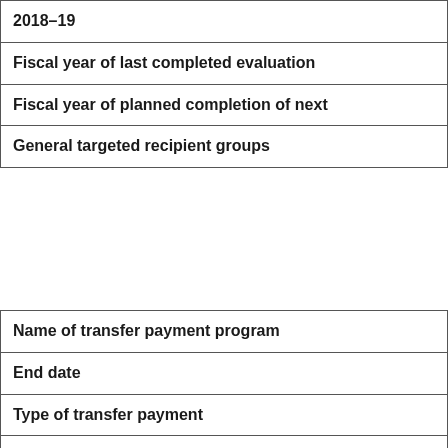| 2018–19 |
| Fiscal year of last completed evaluation |
| Fiscal year of planned completion of next |
| General targeted recipient groups |
| Name of transfer payment program |
| End date |
| Type of transfer payment |
| Type of appropriation |
| Link to department's Program Inventory |